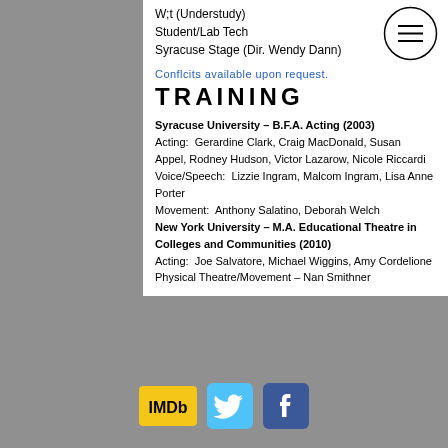W;t (Understudy)
Student/Lab Tech
Syracuse Stage (Dir. Wendy Dann)
Conflcits available upon request.
TRAINING
Syracuse University – B.F.A. Acting (2003)
Acting:  Gerardine Clark, Craig MacDonald, Susan Appel, Rodney Hudson, Victor Lazarow, Nicole Riccardi
Voice/Speech:  Lizzie Ingram, Malcom Ingram, Lisa Anne Porter
Movement:  Anthony Salatino, Deborah Welch
New York University – M.A. Educational Theatre in Colleges and Communities (2010)
Acting:  Joe Salvatore, Michael Wiggins, Amy Cordelione
Physical Theatre/Movement – Nan Smithner
© 2022 by Kelly Trumbull
[Figure (logo): IMDb logo button (gold/yellow background with black text 'IMDb')]
[Figure (logo): Twitter bird logo (light blue background)]
[Figure (logo): Facebook 'f' logo (blue background)]